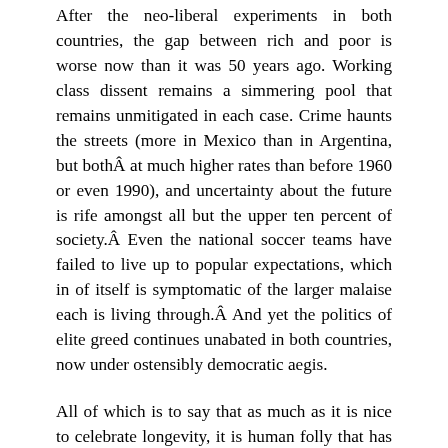After the neo-liberal experiments in both countries, the gap between rich and poor is worse now than it was 50 years ago. Working class dissent remains a simmering pool that remains unmitigated in each case. Crime haunts the streets (more in Mexico than in Argentina, but bothÂ at much higher rates than before 1960 or even 1990), and uncertainty about the future is rife amongst all but the upper ten percent of society.Â Even the national soccer teams have failed to live up to popular expectations, which in of itself is symptomatic of the larger malaise each is living through.Â And yet the politics of elite greed continues unabated in both countries, now under ostensibly democratic aegis.
All of which is to say that as much as it is nice to celebrate longevity, it is human folly that has prevented these two countries from developing into fully mature states that are nourishing and representative of their citizens. My hope is that the youngerÂ generation of citizens exposed to the excesses of the past 25 years in both places will work harder